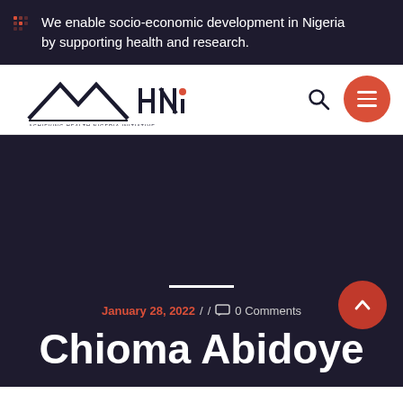We enable socio-economic development in Nigeria by supporting health and research.
[Figure (logo): AHNI - Achieving Health Nigeria Initiative logo with mountain/chevron graphic and red dot above the i]
January 28, 2022 / / 0 Comments
Chioma Abidoye